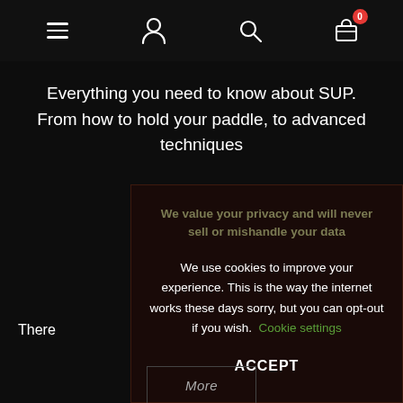Navigation bar with hamburger menu, user icon, search icon, and cart (0)
Everything you need to know about SUP. From how to hold your paddle, to advanced techniques
There
[Figure (screenshot): Cookie consent modal with dark background. Title: 'We value your privacy and will never sell or mishandle your data'. Body: 'We use cookies to improve your experience. This is the way the internet works these days sorry, but you can opt-out if you wish.' with a 'Cookie settings' link in green. An 'ACCEPT' button at the bottom.]
More